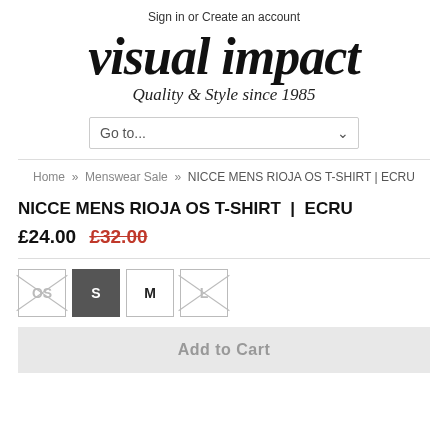Sign in or Create an account
[Figure (logo): Visual Impact logo — stylized serif italic text 'visual impact' with tagline 'Quality & Style since 1985']
Go to...
Home » Menswear Sale » NICCE MENS RIOJA OS T-SHIRT | ECRU
NICCE MENS RIOJA OS T-SHIRT | ECRU
£24.00 £32.00
Size options: OS (unavailable), S (selected), M, L (unavailable)
Add to Cart